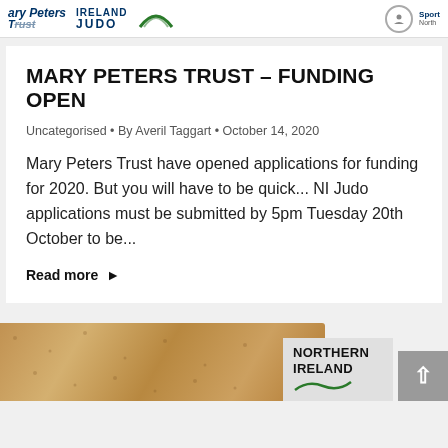Mary Peters Trust  IRELAND JUDO
MARY PETERS TRUST – FUNDING OPEN
Uncategorised • By Averil Taggart • October 14, 2020
Mary Peters Trust have opened applications for funding for 2020. But you will have to be quick... NI Judo applications must be submitted by 5pm Tuesday 20th October to be...
Read more ▶
[Figure (photo): Bottom partial view of a cork board texture on the left and a Northern Ireland logo box on the right, with a grey scroll-to-top button]